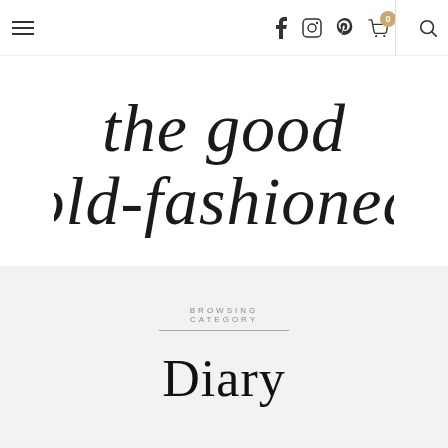Navigation bar with hamburger menu, social icons (Facebook, Instagram, Pinterest), cart with badge 0, and search icon
[Figure (logo): Handwritten script logo reading 'the good old-fashioned' in cursive black lettering on white background]
BROWSING CATEGORY
Diary